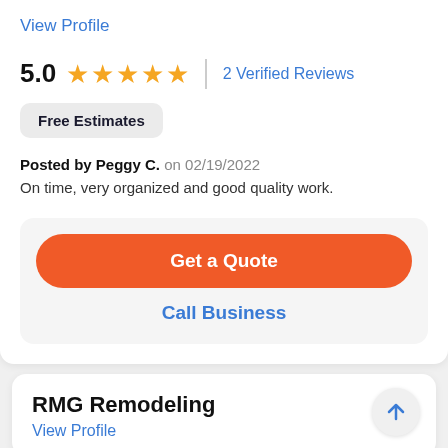View Profile
5.0 ★★★★★ | 2 Verified Reviews
Free Estimates
Posted by Peggy C. on 02/19/2022
On time, very organized and good quality work.
Get a Quote
Call Business
RMG Remodeling
View Profile